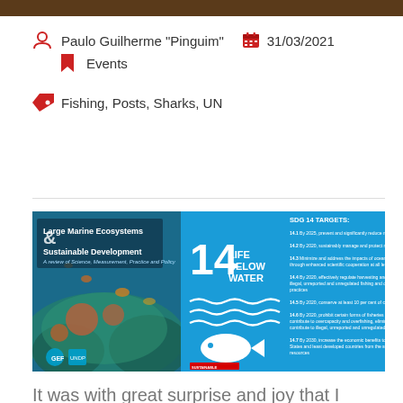Paulo Guilherme "Pinguim"   31/03/2021
Events
Fishing, Posts, Sharks, UN
[Figure (photo): Composite image showing Large Marine Ecosystems & Sustainable Development book cover with underwater coral reef photo, alongside SDG 14 Life Below Water targets panel listing targets 14.1 through 14.7]
It was with great surprise and joy that I